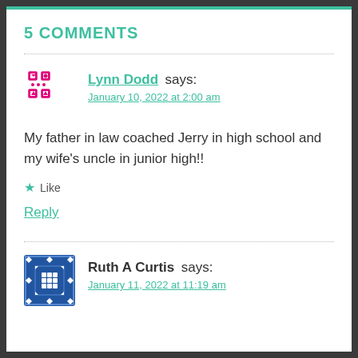5 COMMENTS
[Figure (illustration): Pink/magenta pixel avatar for Lynn Dodd]
Lynn Dodd says:
January 10, 2022 at 2:00 am
My father in law coached Jerry in high school and my wife’s uncle in junior high!!
★ Like
Reply
[Figure (illustration): Blue pixel avatar for Ruth A Curtis]
Ruth A Curtis says:
January 11, 2022 at 11:19 am